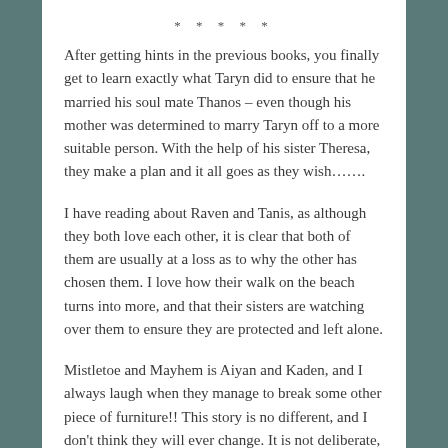* * * * *
After getting hints in the previous books, you finally get to learn exactly what Taryn did to ensure that he married his soul mate Thanos – even though his mother was determined to marry Taryn off to a more suitable person.  With the help of his sister Theresa, they make a plan and it all goes as they wish…….
I have reading about Raven and Tanis, as although they both love each other, it is clear that both of them are usually at a loss as to why the other has chosen them.  I love how their walk on the beach turns into more, and that their sisters are watching over them to ensure they are protected and left alone.
Mistletoe and Mayhem is Aiyan and Kaden, and I always laugh when they manage to break some other piece of furniture!!  This story is no different, and I don't think they will ever change.  It is not deliberate, but it seems to be that no matter what